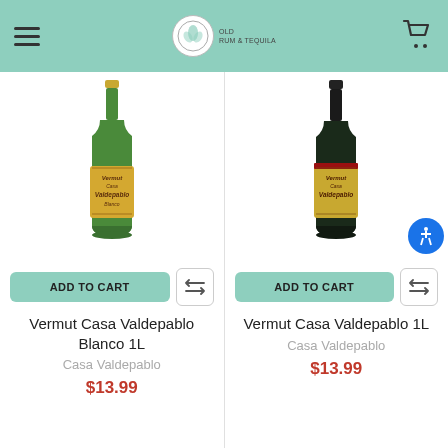[Figure (screenshot): E-commerce website header with hamburger menu icon on left, store logo in center, and shopping cart icon on right, on a mint/teal green background]
[Figure (photo): Green glass bottle of Vermut Casa Valdepablo Blanco 1L with gold label]
ADD TO CART
Vermut Casa Valdepablo Blanco 1L
Casa Valdepablo
$13.99
[Figure (photo): Dark/black glass bottle of Vermut Casa Valdepablo 1L with gold label]
ADD TO CART
Vermut Casa Valdepablo 1L
Casa Valdepablo
$13.99